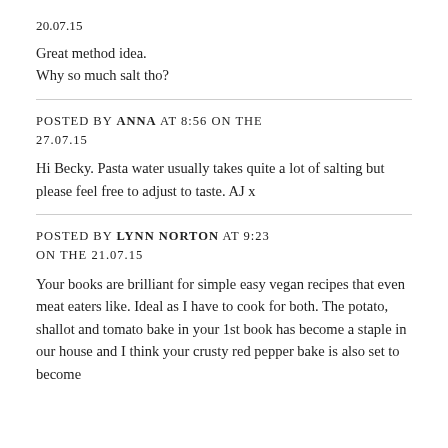20.07.15
Great method idea.
Why so much salt tho?
POSTED BY ANNA AT 8:56 ON THE 27.07.15
Hi Becky. Pasta water usually takes quite a lot of salting but please feel free to adjust to taste. AJ x
POSTED BY LYNN NORTON AT 9:23 ON THE 21.07.15
Your books are brilliant for simple easy vegan recipes that even meat eaters like. Ideal as I have to cook for both. The potato, shallot and tomato bake in your 1st book has become a staple in our house and I think your crusty red pepper bake is also set to become